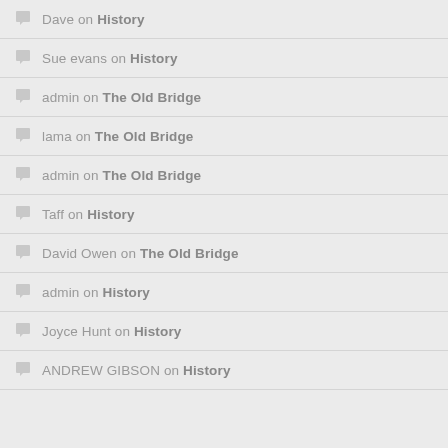Dave on History
Sue evans on History
admin on The Old Bridge
lama on The Old Bridge
admin on The Old Bridge
Taff on History
David Owen on The Old Bridge
admin on History
Joyce Hunt on History
ANDREW GIBSON on History